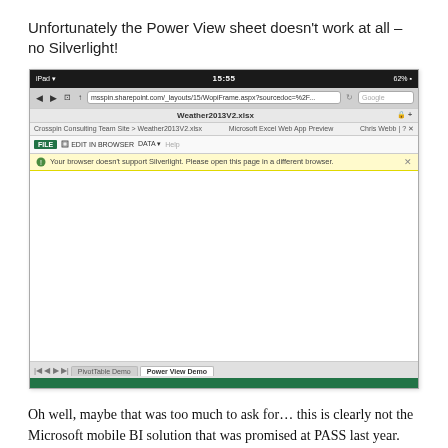Unfortunately the Power View sheet doesn't work at all – no Silverlight!
[Figure (screenshot): iPad screenshot of Microsoft Excel Web App in Safari browser showing an error message: 'Your browser doesn't support Silverlight. Please open this page in a different browser.' The Power View Demo tab is active and the content area is blank/white. The ribbon shows FILE, EDIT IN BROWSER, and DATA buttons.]
Oh well, maybe that was too much to ask for… this is clearly not the Microsoft mobile BI solution that was promised at PASS last year. That's not to say it isn't useful though – there's still some good stuff you can do